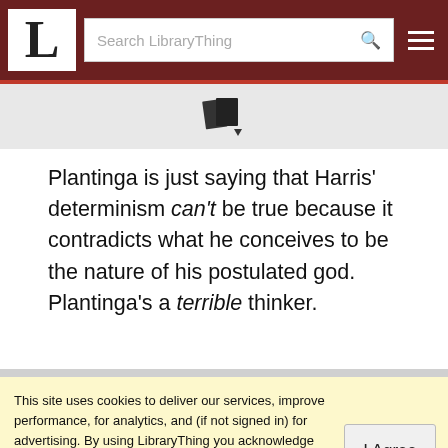LibraryThing header with logo L, search bar, and menu icon
[Figure (logo): LibraryThing books/pages icon with dropdown arrow]
Plantinga is just saying that Harris' determinism can't be true because it contradicts what he conceives to be the nature of his postulated god. Plantinga's a terrible thinker.
This site uses cookies to deliver our services, improve performance, for analytics, and (if not signed in) for advertising. By using LibraryThing you acknowledge that you have read and understand our Terms of Service and Privacy Policy. Your use of the site and services is subject to these policies and terms.